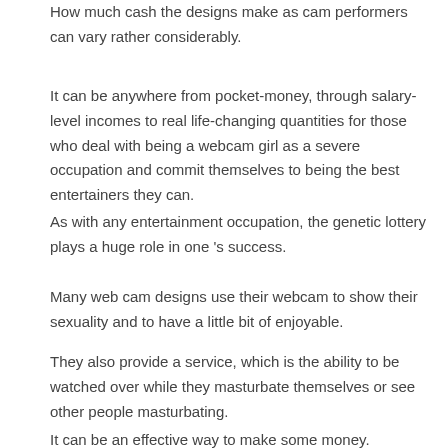How much cash the designs make as cam performers can vary rather considerably.
It can be anywhere from pocket-money, through salary-level incomes to real life-changing quantities for those who deal with being a webcam girl as a severe occupation and commit themselves to being the best entertainers they can.
As with any entertainment occupation, the genetic lottery plays a huge role in one 's success.
Many web cam designs use their webcam to show their sexuality and to have a little bit of enjoyable.
They also provide a service, which is the ability to be watched over while they masturbate themselves or see other people masturbating.
It can be an effective way to make some money.